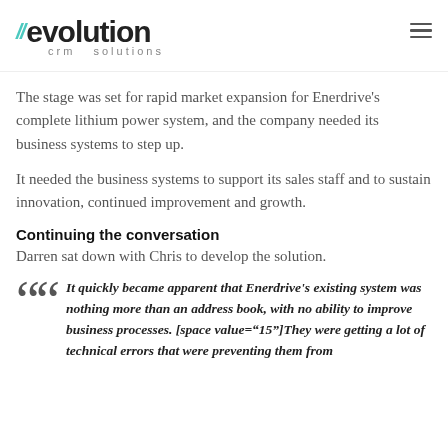evolution crm solutions
The stage was set for rapid market expansion for Enerdrive's complete lithium power system, and the company needed its business systems to step up.
It needed the business systems to support its sales staff and to sustain innovation, continued improvement and growth.
Continuing the conversation
Darren sat down with Chris to develop the solution.
It quickly became apparent that Enerdrive's existing system was nothing more than an address book, with no ability to improve business processes. [space value="15"]They were getting a lot of technical errors that were preventing them from